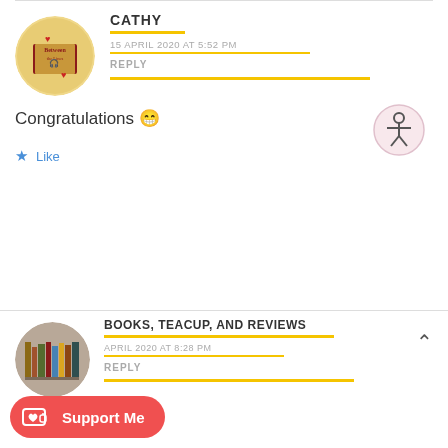CATHY
15 APRIL 2020 AT 5:52 PM
REPLY
Congratulations 😁
Like
BOOKS, TEACUP, AND REVIEWS
APRIL 2020 AT 8:28 PM
REPLY
Support Me